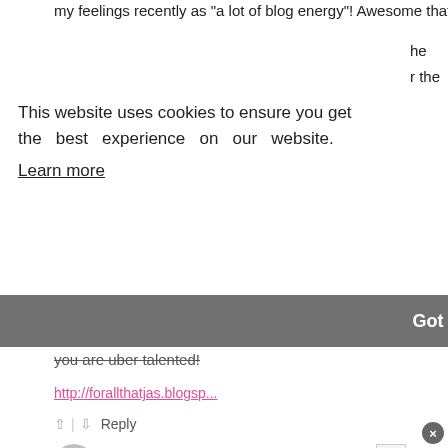my feelings recently as "a lot of blog energy"! Awesome that
he
r the
hat
This website uses cookies to ensure you get the best experience on our website.
Learn more
Got it!
you are uber talented!
http://forallthatjas.blogsp...
Reply
Neeno
11 years ago
that is beautiful!! i need to make dresses for work... everything I make is too bright!
Reply
Juliette Sewing And Style
11 years ago